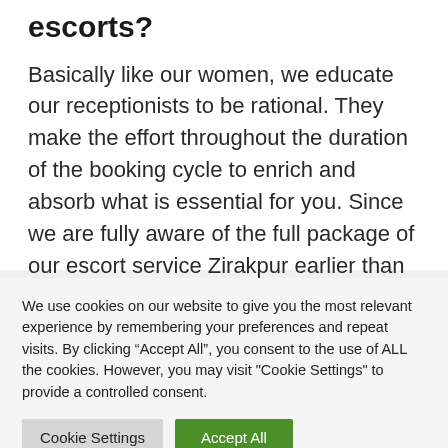escorts?
Basically like our women, we educate our receptionists to be rational. They make the effort throughout the duration of the booking cycle to enrich and absorb what is essential for you. Since we are fully aware of the full package of our escort service Zirakpur earlier than the long techniques,
We use cookies on our website to give you the most relevant experience by remembering your preferences and repeat visits. By clicking “Accept All”, you consent to the use of ALL the cookies. However, you may visit "Cookie Settings" to provide a controlled consent.